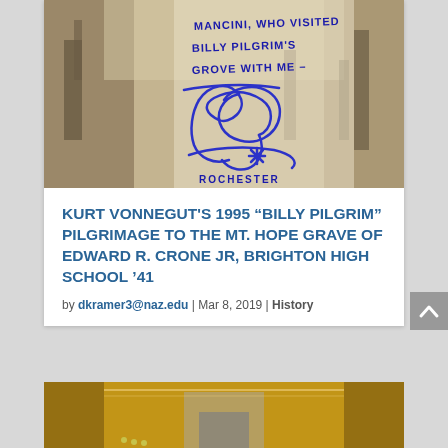[Figure (photo): A photograph showing a handwritten note over a sepia-toned image of ruins/destroyed buildings. The handwriting reads: 'MANCINI, WHO VISITED BILLY PILGRIM'S GROVE WITH ME -' followed by a large signature and 'ROCHESTER' at the bottom.]
KURT VONNEGUT'S 1995 “BILLY PILGRIM” PILGRIMAGE TO THE MT. HOPE GRAVE OF EDWARD R. CRONE JR, BRIGHTON HIGH SCHOOL '41
by dkramer3@naz.edu | Mar 8, 2019 | History
[Figure (photo): Partial view of a decorative interior scene, possibly showing an ornate fireplace or archway with golden/warm tones.]